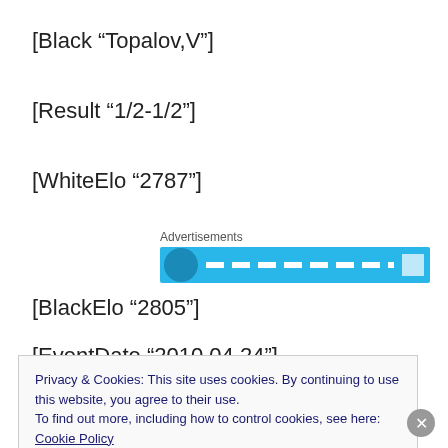[Black “Topalov,V”]
[Result “1/2-1/2”]
[WhiteElo “2787”]
[Figure (other): Advertisement banner with blue background and icon]
[BlackElo “2805”]
[EventDate “2010.04.24”]
Privacy & Cookies: This site uses cookies. By continuing to use this website, you agree to their use.
To find out more, including how to control cookies, see here: Cookie Policy